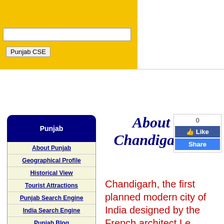[Figure (screenshot): Yellow banner with search input box and Punjab CSE button]
About Chandigarh
[Figure (other): Facebook-style Like/Share widget showing 0 likes]
About Punjab
Geographical Profile
Historical View
Tourist Attractions
Punjab Search Engine
India Search Engine
Punjab Blog
Punjab map
Chandigarh, the first planned modern city of India designed by the French architect Le